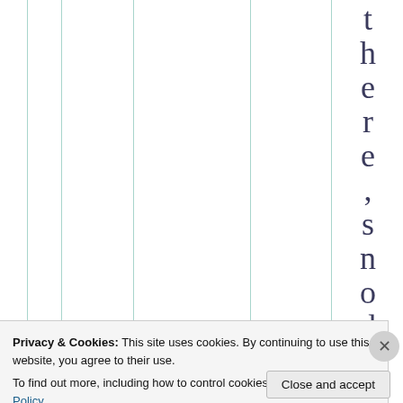t h e r e , s n o d o
Privacy & Cookies: This site uses cookies. By continuing to use this website, you agree to their use.
To find out more, including how to control cookies, see here: Cookie Policy
Close and accept